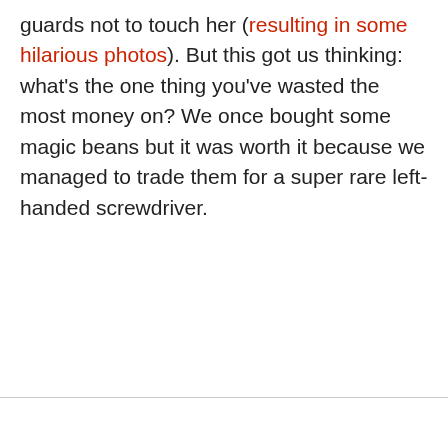guards not to touch her (resulting in some hilarious photos). But this got us thinking: what's the one thing you've wasted the most money on? We once bought some magic beans but it was worth it because we managed to trade them for a super rare left-handed screwdriver.